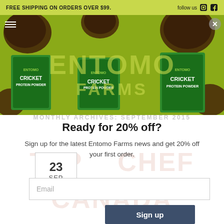FREE SHIPPING ON ORDERS OVER $99.
[Figure (screenshot): Entomo Farms website hero image showing cricket protein powder bags on a green background with 'ENTOMO FARMS' overlay text]
MONTHLY ARCHIVES: SEPTEMBER 2015
Ready for 20% off?
Sign up for the latest Entomo Farms news and get 20% off your first order.
Email
Sign up